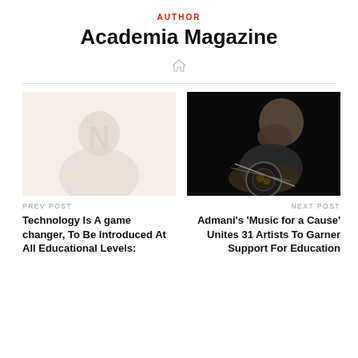AUTHOR
Academia Magazine
[Figure (other): Home icon symbol]
[Figure (photo): Faded/washed-out photo of a person, left post thumbnail]
PREV POST
Technology Is A game changer, To Be Introduced At All Educational Levels:
[Figure (photo): Dark photo of a person playing guitar against black background, right post thumbnail]
NEXT POST
Admani's 'Music for a Cause' Unites 31 Artists To Garner Support For Education